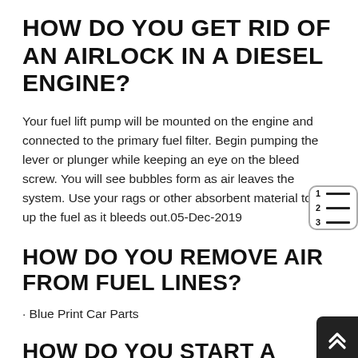HOW DO YOU GET RID OF AN AIRLOCK IN A DIESEL ENGINE?
Your fuel lift pump will be mounted on the engine and connected to the primary fuel filter. Begin pumping the lever or plunger while keeping an eye on the bleed screw. You will see bubbles form as air leaves the system. Use your rags or other absorbent material to sop up the fuel as it bleeds out.05-Dec-2019
HOW DO YOU REMOVE AIR FROM FUEL LINES?
· Blue Print Car Parts
HOW DO YOU START A DIESEL ENGINE AFTER RUNNING OUT OF